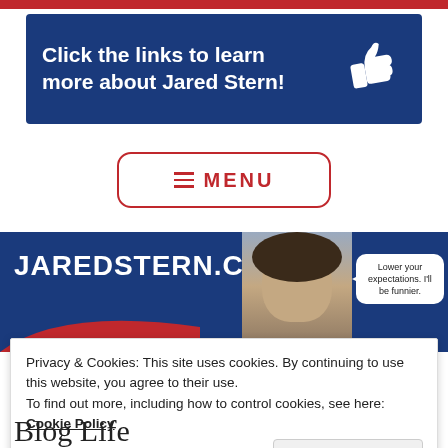[Figure (infographic): Blue banner with white bold text: 'Click the links to learn more about Jared Stern!' with a white thumbs-up hand icon on the right]
[Figure (other): Hamburger menu button with red border and red text 'MENU']
[Figure (photo): Website header banner showing 'JAREDSTERN.COM' in white bold text on dark blue background, a photo of a man, a red swoosh, and a speech bubble reading 'Lower your expectations. I'll be funnier.']
Privacy & Cookies: This site uses cookies. By continuing to use this website, you agree to their use.
To find out more, including how to control cookies, see here: Cookie Policy
Close and accept
Blog Life